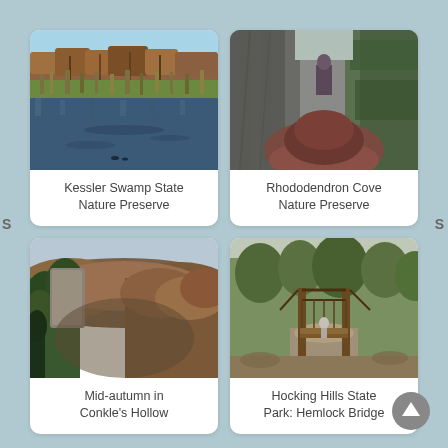[Figure (photo): Swamp with autumn trees reflected in still water, Kessler Swamp State Nature Preserve]
Kessler Swamp State Nature Preserve
[Figure (photo): Person standing on leaf-covered rocks between mossy cliffs, Rhododendron Cove Nature Preserve]
Rhododendron Cove Nature Preserve
[Figure (photo): Aerial view of forested ravine with sandstone cliffs in mid-autumn, Conkle's Hollow]
Mid-autumn in Conkle's Hollow
[Figure (photo): Wooden suspension bridge entrance through trees, Hocking Hills State Park Hemlock Bridge]
Hocking Hills State Park: Hemlock Bridge